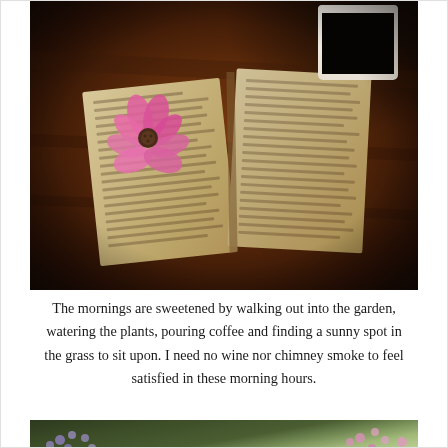[Figure (photo): Overhead photo of an open book with a pink flower resting on it and a white coffee mug with black coffee in the upper right, on a dark reddish-brown wooden table.]
The mornings are sweetened by walking out into the garden, watering the plants, pouring coffee and finding a sunny spot in the grass to sit upon. I need no wine nor chimney smoke to feel satisfied in these morning hours.
[Figure (photo): Partial photo of flowering plants with purple and pink blossoms against green foliage.]